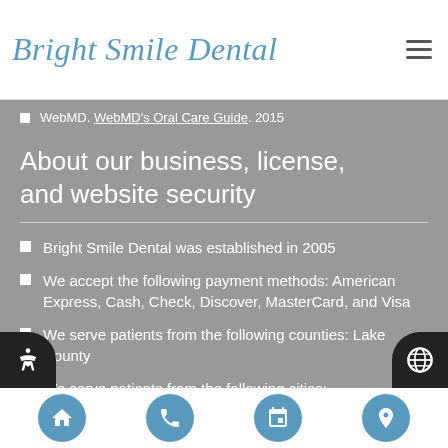Bright Smile Dental
WebMD. WebMD's Oral Care Guide. 2015
About our business, license, and website security
Bright Smile Dental was established in 2005
We accept the following payment methods: American Express, Cash, Check, Discover, MasterCard, and Visa
We serve patients from the following counties: Lake County
We serve patients from the following cities: